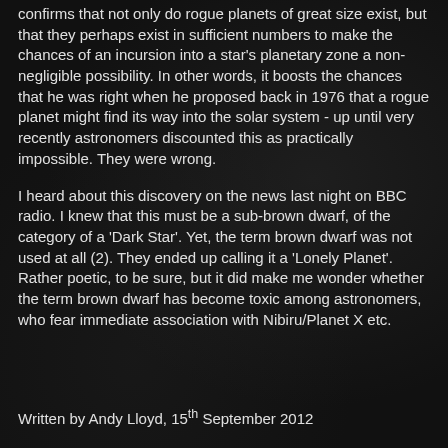confirms that not only do rogue planets of great size exist, but that they perhaps exist in sufficient numbers to make the chances of an incursion into a star's planetary zone a non-negligible possibility.  In other words, it boosts the chances that he was right when he proposed back in 1976 that a rogue planet might find its way into the solar system - up until very recently astronomers discounted this as practically impossible.  They were wrong.
I heard about this discovery on the news last night on BBC radio.  I knew that this must be a sub-brown dwarf, of the category of a 'Dark Star'.  Yet, the term brown dwarf was not used at all (2).  They ended up calling it a 'Lonely Planet'.  Rather poetic, to be sure, but it did make me wonder whether the term brown dwarf has become toxic among astronomers, who fear immediate association with Nibiru/Planet X etc.
Written by Andy Lloyd, 15th September 2012